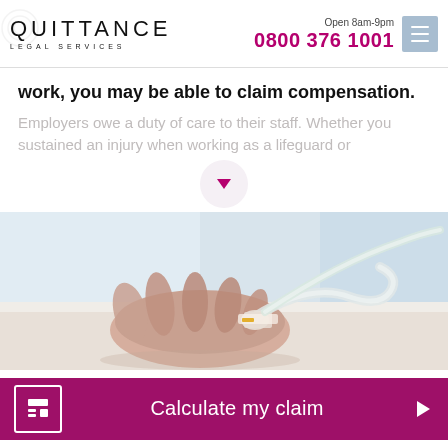QUITTANCE LEGAL SERVICES — Open 8am-9pm — 0800 376 1001
work, you may be able to claim compensation.
Employers owe a duty of care to their staff. Whether you sustained an injury when working as a lifeguard or
[Figure (photo): Close-up photograph of a patient's hand with an IV drip/cannula inserted and medical tape applied, resting on a surface, medical/hospital setting.]
Calculate my claim